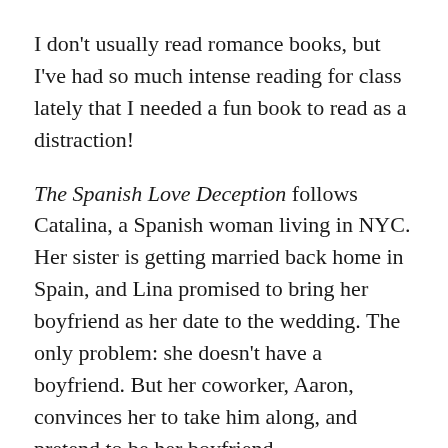I don't usually read romance books, but I've had so much intense reading for class lately that I needed a fun book to read as a distraction!
The Spanish Love Deception follows Catalina, a Spanish woman living in NYC. Her sister is getting married back home in Spain, and Lina promised to bring her boyfriend as her date to the wedding. The only problem: she doesn't have a boyfriend. But her coworker, Aaron, convinces her to take him along, and pretend to be her boyfriend.
What I liked: